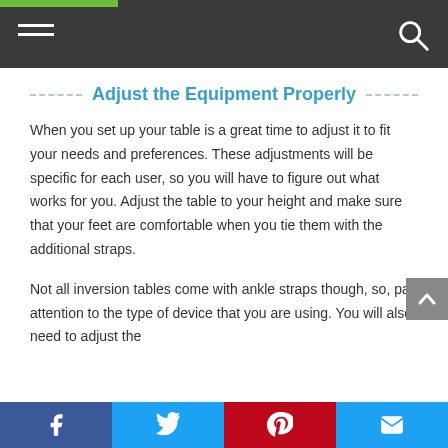Adjust the Equipment Properly
When you set up your table is a great time to adjust it to fit your needs and preferences. These adjustments will be specific for each user, so you will have to figure out what works for you. Adjust the table to your height and make sure that your feet are comfortable when you tie them with the additional straps.
Not all inversion tables come with ankle straps though, so, pay attention to the type of device that you are using. You will also need to adjust the
Facebook Twitter Pinterest Email